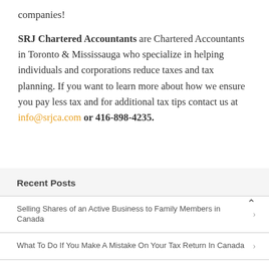companies!
SRJ Chartered Accountants are Chartered Accountants in Toronto & Mississauga who specialize in helping individuals and corporations reduce taxes and tax planning. If you want to learn more about how we ensure you pay less tax and for additional tax tips contact us at info@srjca.com or 416-898-4235.
Recent Posts
Selling Shares of an Active Business to Family Members in Canada
What To Do If You Make A Mistake On Your Tax Return In Canada
CRA Gift Tax Rules for Employers
How Is Capital Gains Tax Calculated On Real Estate In Canada?